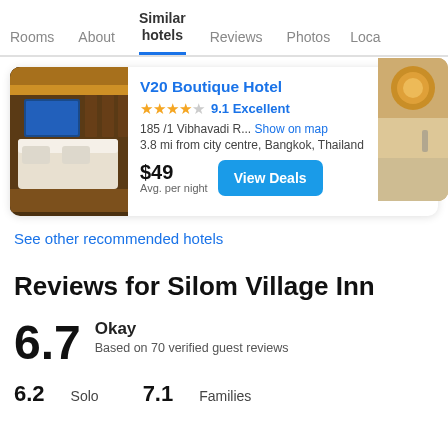Rooms  About  Similar hotels  Reviews  Photos  Loca…
V20 Boutique Hotel
★★★★☆ 9.1 Excellent
185 /1 Vibhavadi R...  Show on map
3.8 mi from city centre, Bangkok, Thailand
$49 Avg. per night  View Deals
See other recommended hotels
Reviews for Silom Village Inn
6.7  Okay
Based on 70 verified guest reviews
6.2  Solo   7.1  Families